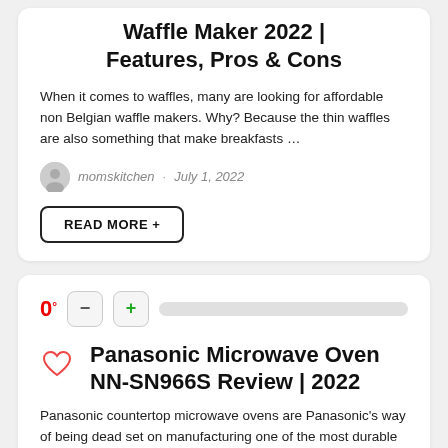Waffle Maker 2022 | Features, Pros & Cons
When it comes to waffles, many are looking for affordable non Belgian waffle makers. Why? Because the thin waffles are also something that make breakfasts …
momskitchen · July 1, 2022
READ MORE +
[Figure (infographic): Vote score row: 0° with minus and plus buttons and a gray progress bar]
Panasonic Microwave Oven NN-SN966S Review | 2022
Panasonic countertop microwave ovens are Panasonic's way of being dead set on manufacturing one of the most durable ovens in history. Microwave ovens work …
momskitchen · July 1, 2022